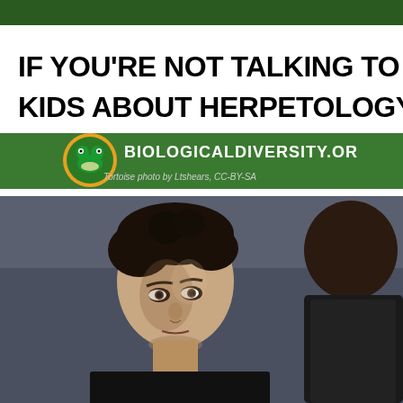[Figure (other): Biologicaldiversity.org advertisement banner on green background with frog logo. Bold black text reads: 'IF YOU'RE NOT TALKING TO YOUR KIDS ABOUT HERPETOLOGY, WHO' (text cut off at right). Features a circular yellow/orange frog logo and the URL BIOLOGICALDIVERSITY.OR (cut off). Small caption text: 'Tortoise photo by Ltshears, CC-BY-SA']
[Figure (photo): Movie still showing two characters from The Matrix: a young man with dark hair (Neo/Keanu Reeves) facing the camera, and a bald man (Morpheus/Laurence Fishburne) seen from behind in the foreground right.]